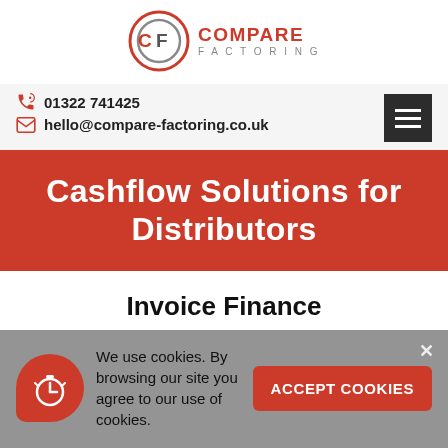[Figure (logo): Compare Factoring logo: CF in a circle with red and gray, text COMPARE FACTORING to the right]
01322 741425
hello@compare-factoring.co.uk
Cashflow Solutions for Distributors
Invoice Finance
We use cookies. By browsing our site you agree to our use of cookies.